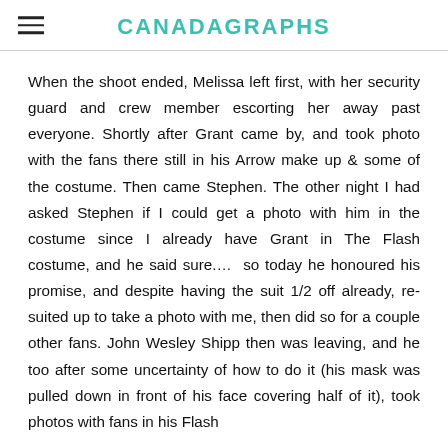CANADAGRAPHS
When the shoot ended, Melissa left first, with her security guard and crew member escorting her away past everyone. Shortly after Grant came by, and took photo with the fans there still in his Arrow make up & some of the costume. Then came Stephen. The other night I had asked Stephen if I could get a photo with him in the costume since I already have Grant in The Flash costume, and he said sure.... so today he honoured his promise, and despite having the suit 1/2 off already, re-suited up to take a photo with me, then did so for a couple other fans. John Wesley Shipp then was leaving, and he too after some uncertainty of how to do it (his mask was pulled down in front of his face covering half of it), took photos with fans in his Flash